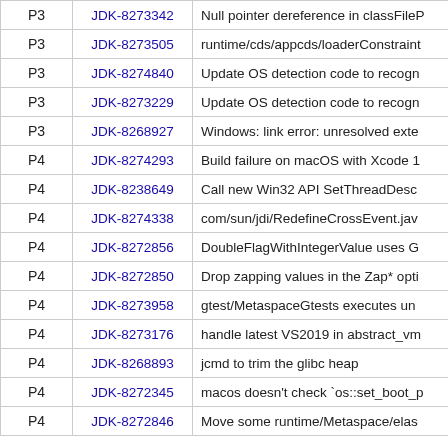|  |  |  |
| --- | --- | --- |
| P3 | JDK-8273342 | Null pointer dereference in classFileP… |
| P3 | JDK-8273505 | runtime/cds/appcds/loaderConstraint… |
| P3 | JDK-8274840 | Update OS detection code to recogn… |
| P3 | JDK-8273229 | Update OS detection code to recogn… |
| P3 | JDK-8268927 | Windows: link error: unresolved exte… |
| P4 | JDK-8274293 | Build failure on macOS with Xcode 1… |
| P4 | JDK-8238649 | Call new Win32 API SetThreadDesc… |
| P4 | JDK-8274338 | com/sun/jdi/RedefineCrossEvent.jav… |
| P4 | JDK-8272856 | DoubleFlagWithIntegerValue uses G… |
| P4 | JDK-8272850 | Drop zapping values in the Zap* opti… |
| P4 | JDK-8273958 | gtest/MetaspaceGtests executes un… |
| P4 | JDK-8273176 | handle latest VS2019 in abstract_vm… |
| P4 | JDK-8268893 | jcmd to trim the glibc heap |
| P4 | JDK-8272345 | macos doesn't check `os::set_boot_p… |
| P4 | JDK-8272846 | Move some runtime/Metaspace/elas… |